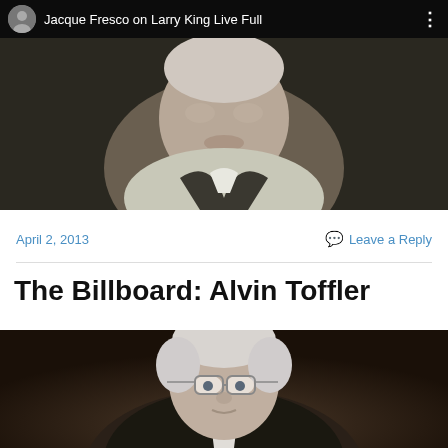[Figure (screenshot): YouTube video thumbnail showing 'Jacque Fresco on Larry King Live Full' with a play button overlay and a close-up face of an elderly man]
April 2, 2013
Leave a Reply
The Billboard: Alvin Toffler
[Figure (photo): Photo of Alvin Toffler, an elderly man with white hair and glasses, dark background]